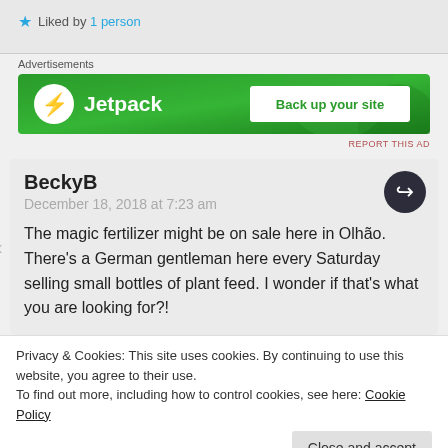★ Liked by 1 person
[Figure (screenshot): Jetpack advertisement banner with green background, Jetpack logo on left and 'Back up your site' button on right]
BeckyB
December 18, 2018 at 7:23 am

The magic fertilizer might be on sale here in Olhão. There's a German gentleman here every Saturday selling small bottles of plant feed. I wonder if that's what you are looking for?!
Privacy & Cookies: This site uses cookies. By continuing to use this website, you agree to their use.
To find out more, including how to control cookies, see here: Cookie Policy
December 18, 2018 at 9:23 am